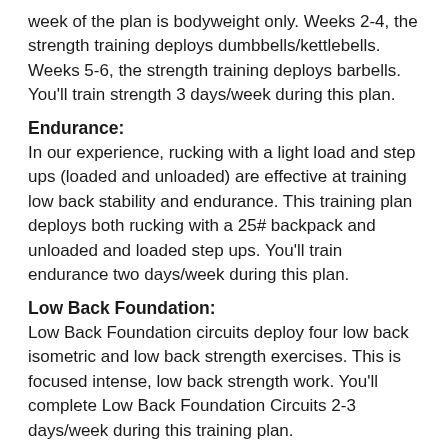week of the plan is bodyweight only. Weeks 2-4, the strength training deploys dumbbells/kettlebells. Weeks 5-6, the strength training deploys barbells. You'll train strength 3 days/week during this plan.
Endurance:
In our experience, rucking with a light load and step ups (loaded and unloaded) are effective at training low back stability and endurance. This training plan deploys both rucking with a 25# backpack and unloaded and loaded step ups. You'll train endurance two days/week during this plan.
Low Back Foundation:
Low Back Foundation circuits deploy four low back isometric and low back strength exercises. This is focused intense, low back strength work. You'll complete Low Back Foundation Circuits 2-3 days/week during this training plan.